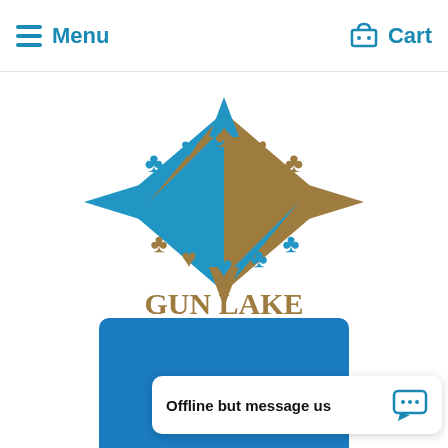Menu   Cart
[Figure (logo): Gun Lake Casino logo with card suit symbols (clubs, hearts, spades, diamonds) in blue and gold, with text GUN LAKE CASINO™]
[Figure (screenshot): Blue rectangular area at bottom showing partial website widget]
Offline but message us